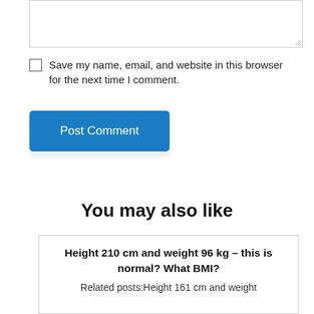[Figure (screenshot): Textarea input box with resize handle at bottom-right]
Save my name, email, and website in this browser for the next time I comment.
[Figure (screenshot): Blue Post Comment button]
You may also like
Height 210 cm and weight 96 kg – this is normal? What BMI?
Related posts:Height 161 cm and weight